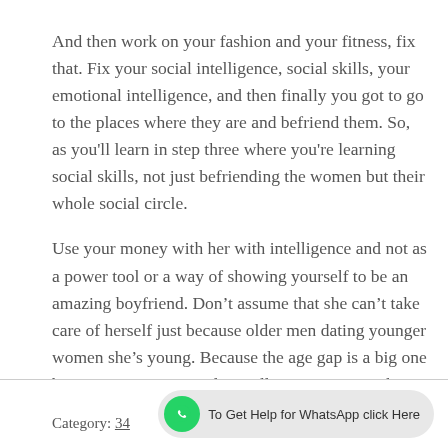And then work on your fashion and your fitness, fix that. Fix your social intelligence, social skills, your emotional intelligence, and then finally you got to go to the places where they are and befriend them. So, as you'll learn in step three where you're learning social skills, not just befriending the women but their whole social circle.
Use your money with her with intelligence and not as a power tool or a way of showing yourself to be an amazing boyfriend. Don't assume that she can't take care of herself just because older men dating younger women she's young. Because the age gap is a big one between you two, it's also really important to take it slow. In games of love and life, slow and steady always wins the race.
Category: 34   To Get Help for WhatsApp click Here